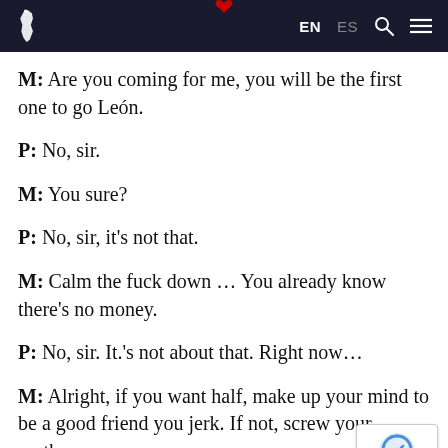EN ES [search] [menu]
M: Are you coming for me, you will be the first one to go León.
P: No, sir.
M: You sure?
P: No, sir, it's not that.
M: Calm the fuck down ... You already know there's no money.
P: No, sir. It.'s not about that. Right now...
M: Alright, if you want half, make up your mind to be a good friend you jerk. If not, screw your mother.